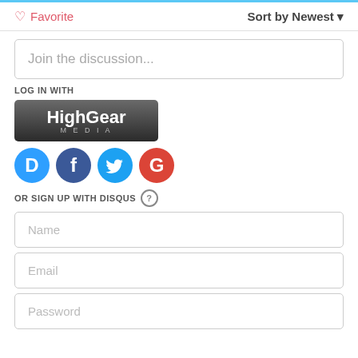❤ Favorite    Sort by Newest ▾
Join the discussion...
LOG IN WITH
[Figure (logo): HighGear Media logo button - dark gradient background with white text]
[Figure (infographic): Social login icons: Disqus (blue D), Facebook (dark blue f), Twitter (light blue bird), Google (red G)]
OR SIGN UP WITH DISQUS ?
Name
Email
Password